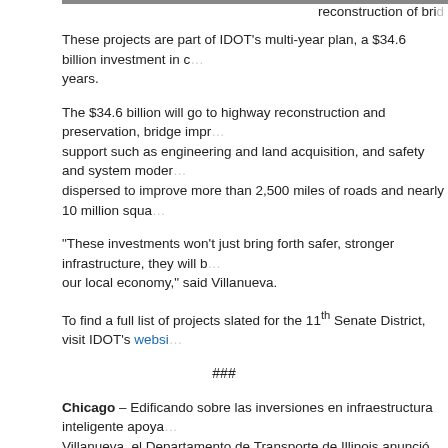reconstruction of bri...
These projects are part of IDOT's multi-year plan, a $34.6 billion investment in c... years.
The $34.6 billion will go to highway reconstruction and preservation, bridge impr... support such as engineering and land acquisition, and safety and system moder... dispersed to improve more than 2,500 miles of roads and nearly 10 million squa...
“These investments won’t just bring forth safer, stronger infrastructure, they will b... our local economy,” said Villanueva.
To find a full list of projects slated for the 11th Senate District, visit IDOT’s websi...
###
Chicago – Edificando sobre las inversiones en infraestructura inteligente apoya... Villanueva, el Departamento de Transporte de Illinois anunció cerca de $13 mille... el área.
“A través de estas inversiones, residentes y turistas podrán viajar con mayor se... invertir en nuestra infraestructura, estamos invirtiendo en nuestras comunidades...
Como parte del plan de varios años de IDOT, el distrito que representa Villanuev...